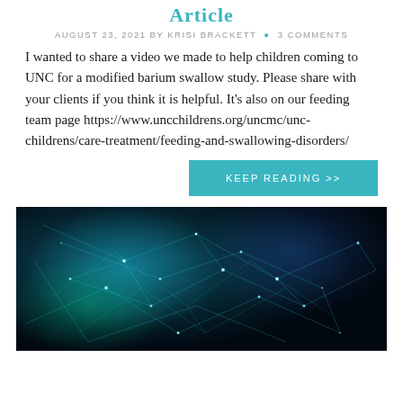Article
AUGUST 23, 2021 BY KRISI BRACKETT • 3 COMMENTS
I wanted to share a video we made to help children coming to UNC for a modified barium swallow study. Please share with your clients if you think it is helpful. It's also on our feeding team page https://www.uncchildrens.org/uncmc/unc-childrens/care-treatment/feeding-and-swallowing-disorders/
KEEP READING >>
[Figure (photo): Abstract network image showing blue and green glowing neural/network connections on a dark background]